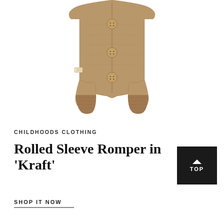[Figure (photo): Baby/toddler tan/kraft colored rolled sleeve romper with button front closure, laid flat on white background. The romper has three visible brown buttons down the front center, ribbed leg openings, and a small tag on the left side.]
CHILDHOODS CLOTHING
Rolled Sleeve Romper in 'Kraft'
SHOP IT NOW